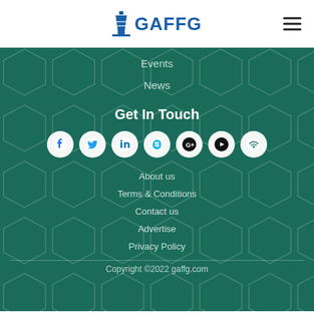GAFFG
Events
News
Get In Touch
[Figure (other): Social media icons in white circles: Facebook, Twitter, LinkedIn, Skype, Google+, YouTube, WiFi/RSS]
About us
Terms & Conditions
Contact us
Advertise
Privacy Policy
Copyright ©2022 gaffg.com